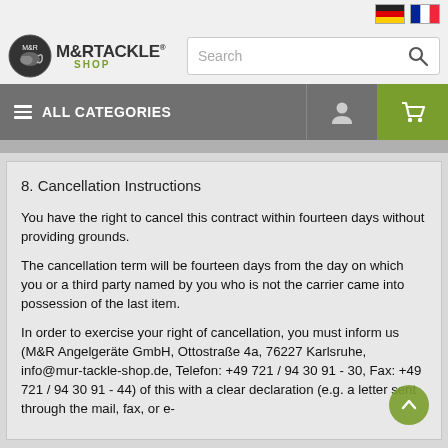[Figure (screenshot): M&R Tackle Shop website header with German and French flag icons, logo, search bar, navigation bar with ALL CATEGORIES, user icon, and cart icon]
8. Cancellation Instructions
You have the right to cancel this contract within fourteen days without providing grounds.
The cancellation term will be fourteen days from the day on which you or a third party named by you who is not the carrier came into possession of the last item.
In order to exercise your right of cancellation, you must inform us (M&R Angelgeräte GmbH, Ottostraße 4a, 76227 Karlsruhe, info@mur-tackle-shop.de, Telefon: +49 721 / 94 30 91 - 30, Fax: +49 721 / 94 30 91 - 44) of this with a clear declaration (e.g. a letter sent through the mail, fax, or e-